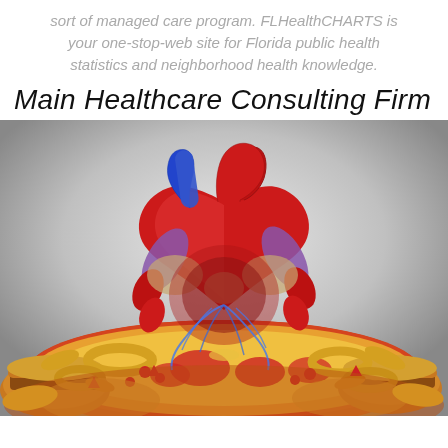sort of managed care program. FLHealthCHARTS is your one-stop-web site for Florida public health statistics and neighborhood health knowledge.
Main Healthcare Consulting Firm
[Figure (illustration): Medical illustration of a human heart emerging from a pile of unhealthy junk food including pizza, burgers, onion rings, and other fast food items. The heart shows anatomical detail with red and blue vessels. Image illustrates the relationship between unhealthy diet and heart health.]